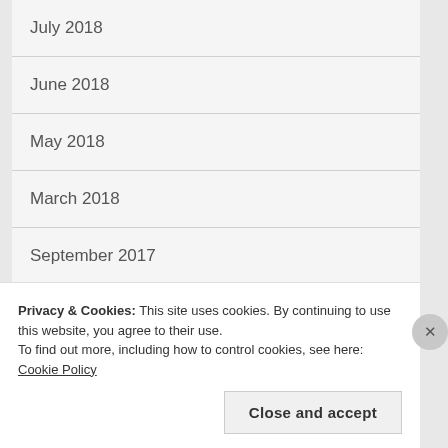July 2018
June 2018
May 2018
March 2018
September 2017
April 2017
July 2016
Privacy & Cookies: This site uses cookies. By continuing to use this website, you agree to their use.
To find out more, including how to control cookies, see here: Cookie Policy
Close and accept